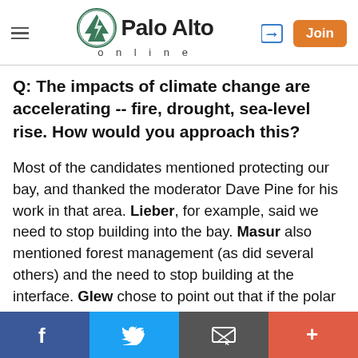Palo Alto online
Q: The impacts of climate change are accelerating -- fire, drought, sea-level rise. How would you approach this?
Most of the candidates mentioned protecting our bay, and thanked the moderator Dave Pine for his work in that area. Lieber, for example, said we need to stop building into the bay. Masur also mentioned forest management (as did several others) and the need to stop building at the interface. Glew chose to point out that if the polar caps melt, then the sea rise of 200+ feet is almost unmanageable, before suggesting that we be more careful with our water and move people inland. Becker added on the importance of carbon removal using forests, soil, and
f  Twitter  Email  +